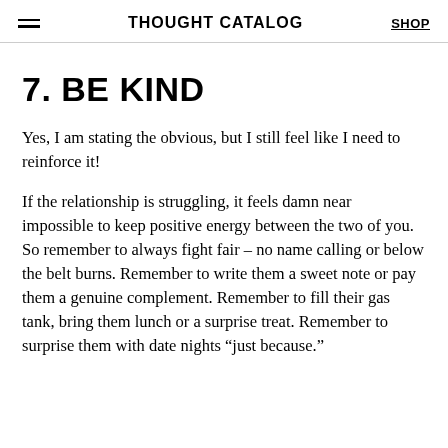THOUGHT CATALOG  SHOP
7. BE KIND
Yes, I am stating the obvious, but I still feel like I need to reinforce it!
If the relationship is struggling, it feels damn near impossible to keep positive energy between the two of you. So remember to always fight fair – no name calling or below the belt burns. Remember to write them a sweet note or pay them a genuine complement. Remember to fill their gas tank, bring them lunch or a surprise treat. Remember to surprise them with date nights “just because.”